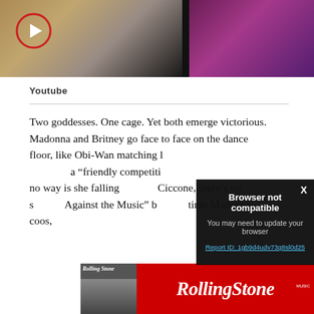[Figure (screenshot): Video thumbnail showing two celebrities (Madonna and Britney) with a play button circle overlay in the top-left corner]
Youtube
Two goddesses. One cage. Yet both emerge victorious. Madonna and Britney go face to face on the dance floor, like Obi-Wan matching l[ightsabers with Yoda, calling it] a “friendly competiti[on.” But Britney insists] no way is she falling [second to anyone. As for] Ciccone, there’s no s[econd place either. “Me Against the Music” b[elonged to both.] Every time Madonna coos,
[Figure (screenshot): Browser not compatible popup dialog with dark background showing: 'Browser not compatible', 'You may need to update your browser', 'Report ID: 1gb9d4udv73q8sl0d25' in cyan link, and X close button]
[Figure (screenshot): Rolling Stone magazine advertisement banner in red with the Rolling Stone logo in white italic text]